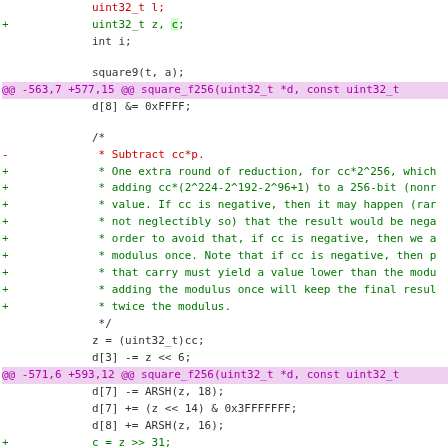Code diff showing changes to square_f256 function in C
[Figure (screenshot): Git diff output showing code changes with added lines (green +), removed lines (red -), and hunk headers (magenta @@) for a C function square_f256 dealing with uint32_t arithmetic and modular reduction.]